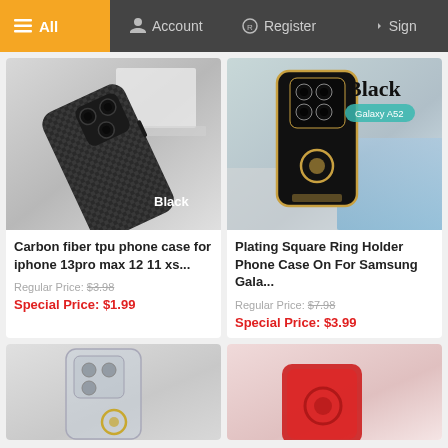All  Account  Register  Sign
[Figure (photo): Black carbon fiber TPU phone case for iPhone 13 Pro Max, diagonal view on white surface]
Carbon fiber tpu phone case for iphone 13pro max 12 11 xs...
Regular Price: $3.98
Special Price: $1.99
[Figure (photo): Black plating square ring holder phone case for Samsung Galaxy A52, with gold trim and ring holder]
Plating Square Ring Holder Phone Case On For Samsung Gala...
Regular Price: $7.98
Special Price: $3.99
[Figure (photo): Transparent phone case with ring holder for flip phone]
[Figure (photo): Red phone case partial view]